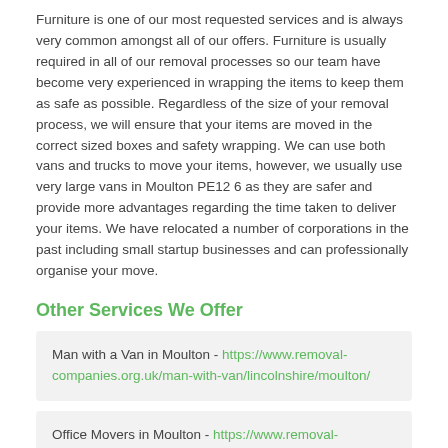Furniture is one of our most requested services and is always very common amongst all of our offers. Furniture is usually required in all of our removal processes so our team have become very experienced in wrapping the items to keep them as safe as possible. Regardless of the size of your removal process, we will ensure that your items are moved in the correct sized boxes and safety wrapping. We can use both vans and trucks to move your items, however, we usually use very large vans in Moulton PE12 6 as they are safer and provide more advantages regarding the time taken to deliver your items. We have relocated a number of corporations in the past including small startup businesses and can professionally organise your move.
Other Services We Offer
Man with a Van in Moulton - https://www.removal-companies.org.uk/man-with-van/lincolnshire/moulton/
Office Movers in Moulton - https://www.removal-companies.org.uk/office/lincolnshire/moulton/